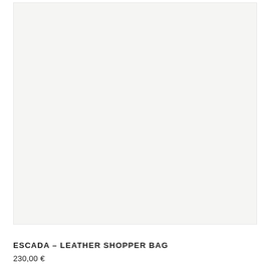[Figure (photo): Large light grey/off-white product image area for an Escada leather shopper bag, shown against a near-white background.]
ESCADA – LEATHER SHOPPER BAG
230,00 €